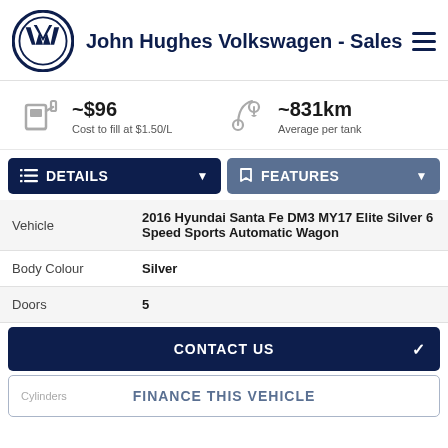John Hughes Volkswagen - Sales
~$96 Cost to fill at $1.50/L
~831km Average per tank
DETAILS
FEATURES
|  |  |
| --- | --- |
| Vehicle | 2016 Hyundai Santa Fe DM3 MY17 Elite Silver 6 Speed Sports Automatic Wagon |
| Body Colour | Silver |
| Doors | 5 |
CONTACT US
Cylinders  FINANCE THIS VEHICLE